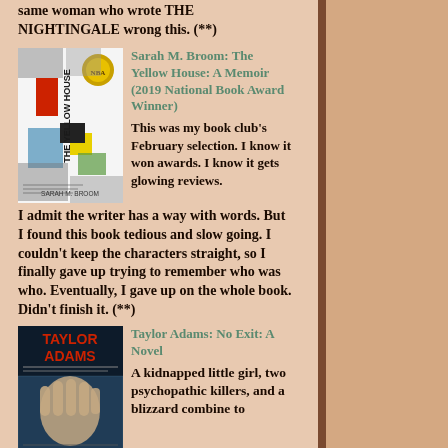same woman who wrote THE NIGHTINGALE wrong this. (**)
[Figure (illustration): Book cover of The Yellow House: A Memoir by Sarah M. Broom, showing a collage of photographs and colored shapes]
Sarah M. Broom: The Yellow House: A Memoir (2019 National Book Award Winner)
This was my book club's February selection. I know it won awards. I know it gets glowing reviews. I admit the writer has a way with words. But I found this book tedious and slow going. I couldn't keep the characters straight, so I finally gave up trying to remember who was who. Eventually, I gave up on the whole book. Didn't finish it. (**)
[Figure (illustration): Book cover of No Exit: A Novel by Taylor Adams, showing a hand pressed against a frosted surface]
Taylor Adams: No Exit: A Novel
A kidnapped little girl, two psychopathic killers, and a blizzard combine to